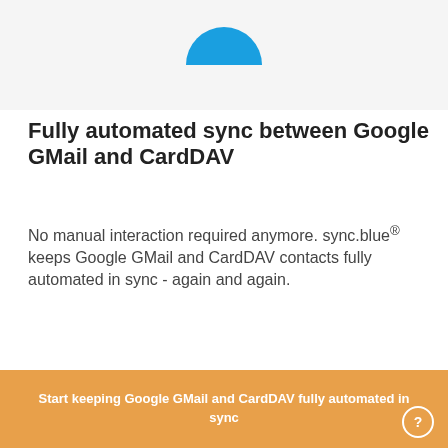[Figure (logo): Blue circle logo (sync.blue) partially visible at top of page, cropped at top]
Fully automated sync between Google GMail and CardDAV
No manual interaction required anymore. sync.blue® keeps Google GMail and CardDAV contacts fully automated in sync - again and again.
Start keeping Google GMail and CardDAV fully automated in sync